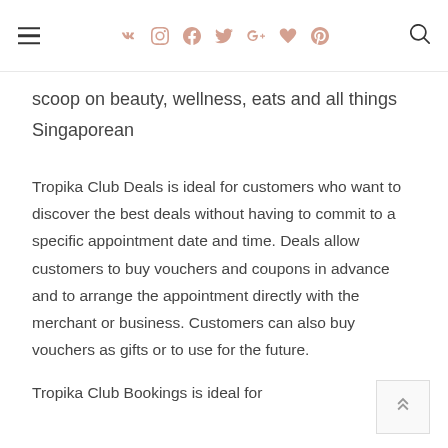Navigation bar with hamburger menu, social icons (VK, Instagram, Facebook, Twitter, Google+, heart, Pinterest), and search icon
scoop on beauty, wellness, eats and all things Singaporean
Tropika Club Deals is ideal for customers who want to discover the best deals without having to commit to a specific appointment date and time. Deals allow customers to buy vouchers and coupons in advance and to arrange the appointment directly with the merchant or business. Customers can also buy vouchers as gifts or to use for the future.
Tropika Club Bookings is ideal for